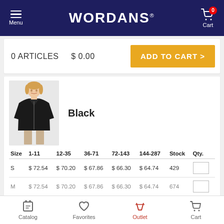Menu  WORDANS  Cart (0)
0 ARTICLES   $ 0.00
ADD TO CART >
[Figure (photo): Woman wearing a black zip-up jacket]
Black
| Size | 1-11 | 12-35 | 36-71 | 72-143 | 144-287 | Stock | Qty. |
| --- | --- | --- | --- | --- | --- | --- | --- |
| S | $72.54 | $70.20 | $67.86 | $66.30 | $64.74 | 429 |  |
| M | $72.54 | $70.20 | $67.86 | $66.30 | $64.74 | 674 |  |
Catalog   Favorites   Outlet   Cart